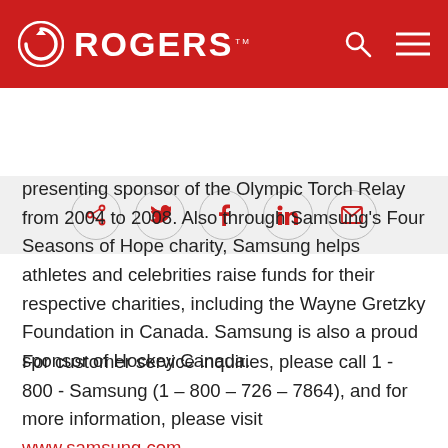ROGERS
[Figure (logo): Rogers logo with circular icon and ROGERS wordmark in white on red background, with search and menu icons on the right]
[Figure (infographic): Social sharing bar with circular buttons for share, Twitter, Facebook, LinkedIn, and email icons]
presenting sponsor of the Olympic Torch Relay from 2004 to 2008. Also through Samsung's Four Seasons of Hope charity, Samsung helps athletes and celebrities raise funds for their respective charities, including the Wayne Gretzky Foundation in Canada. Samsung is also a proud sponsor of Hockey Canada.
For customer service inquiries, please call 1 - 800 - Samsung (1 – 800 – 726 – 7864), and for more information, please visit www.samsung.com.